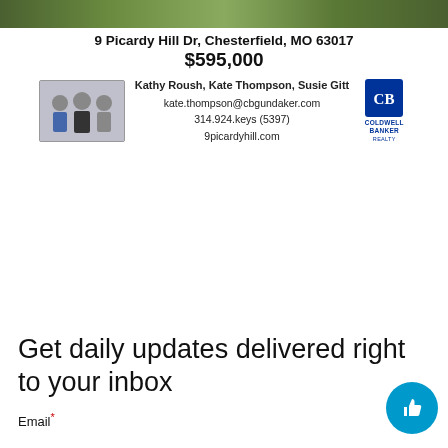[Figure (photo): Real estate property photo banner showing a house exterior with greenery]
9 Picardy Hill Dr, Chesterfield, MO 63017
$595,000
[Figure (photo): Photo of three real estate agents (Kathy Roush, Kate Thompson, Susie Gitt)]
Kathy Roush, Kate Thompson, Susie Gitt
kate.thompson@cbgundaker.com
314.924.keys (5397)
9picardyhill.com
[Figure (logo): Coldwell Banker Realty logo]
Get daily updates delivered right to your inbox
Email*
TRENDING STORIES